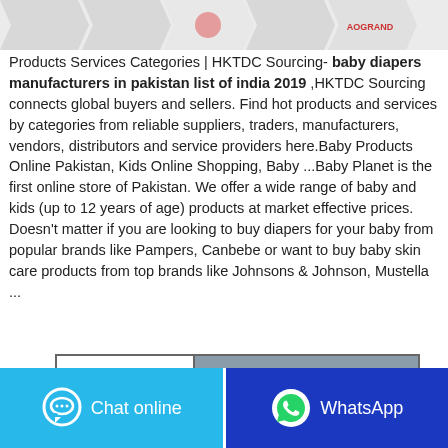[Figure (other): Row of downward-pointing arrow shapes at the top of the page, some with faint icons/logos inside]
Products Services Categories | HKTDC Sourcing- baby diapers manufacturers in pakistan list of india 2019 ,HKTDC Sourcing connects global buyers and sellers. Find hot products and services by categories from reliable suppliers, traders, manufacturers, vendors, distributors and service providers here.Baby Products Online Pakistan, Kids Online Shopping, Baby ...Baby Planet is the first online store of Pakistan. We offer a wide range of baby and kids (up to 12 years of age) products at market effective prices. Doesn't matter if you are looking to buy diapers for your baby from popular brands like Pampers, Canbebe or want to buy baby skin care products from top brands like Johnsons & Johnson, Mustella ...
| E-mail |  |
| --- | --- |
| E-mail | s@aogrand.com |
[Figure (other): Chat online button (cyan/blue) with speech bubble icon on the left]
[Figure (other): WhatsApp button (dark blue) with WhatsApp logo icon on the right]